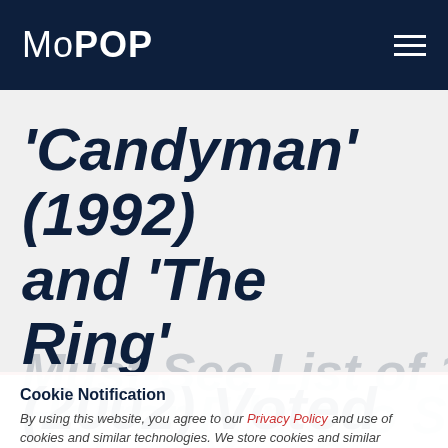MoPOP
'Candyman' (1992) and 'The Ring' (2002) Voted to
Cookie Notification
By using this website, you agree to our Privacy Policy and use of cookies and similar technologies. We store cookies and similar technologies on your computer or device to provide you with a great experience and help our website run effectively.
CLOSE